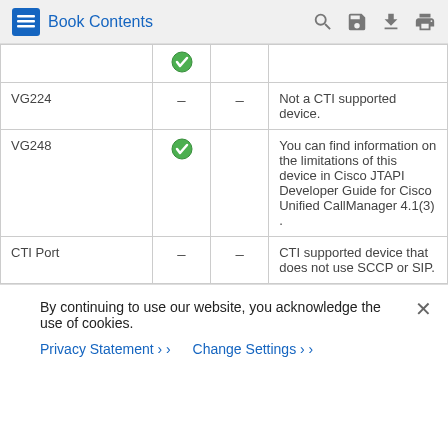Book Contents
| Device | Col2 | Col3 | Notes |
| --- | --- | --- | --- |
| (checkmark) | (checkmark) |  |  |
| VG224 | – | – | Not a CTI supported device. |
| VG248 | (checkmark) |  | You can find information on the limitations of this device in Cisco JTAPI Developer Guide for Cisco Unified CallManager 4.1(3) . |
| CTI Port | – | – | CTI supported device that does not use SCCP or SIP. |
By continuing to use our website, you acknowledge the use of cookies.
Privacy Statement > Change Settings >